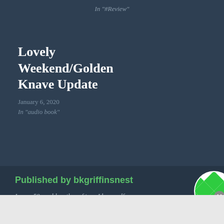In "#Review"
Lovely Weekend/Golden Knave Update
January 6, 2020
In "audio book"
Published by bkgriffinsnest
I am a 50 yr old mother of two. I have self published 6 books, and I am currently working
Advertisements
Search, browse, and email with more privacy. All in One Free App